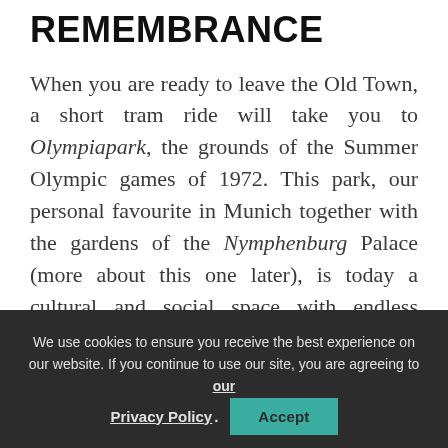REMEMBRANCE
When you are ready to leave the Old Town, a short tram ride will take you to Olympiapark, the grounds of the Summer Olympic games of 1972. This park, our personal favourite in Munich together with the gardens of the Nymphenburg Palace (more about this one later), is today a cultural and social space with endless possibilities for everyone: from
We use cookies to ensure you receive the best experience on our website. If you continue to use our site, you are agreeing to our Privacy Policy. Accept